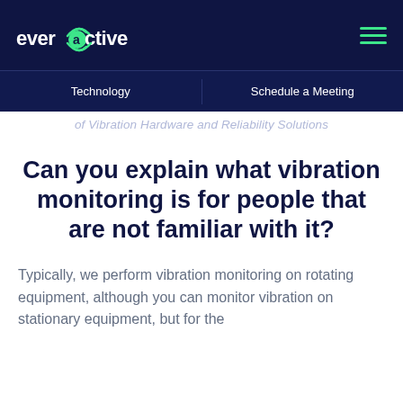everactive | Technology | Schedule a Meeting
of Vibration Hardware and Reliability Solutions
Can you explain what vibration monitoring is for people that are not familiar with it?
Typically, we perform vibration monitoring on rotating equipment, although you can monitor vibration on stationary equipment, but for the